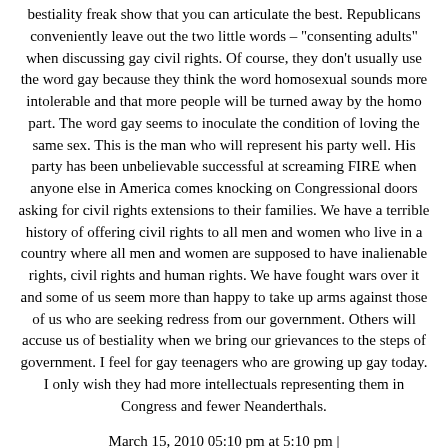bestiality freak show that you can articulate the best. Republicans conveniently leave out the two little words – "consenting adults" when discussing gay civil rights. Of course, they don't usually use the word gay because they think the word homosexual sounds more intolerable and that more people will be turned away by the homo part. The word gay seems to inoculate the condition of loving the same sex. This is the man who will represent his party well. His party has been unbelievable successful at screaming FIRE when anyone else in America comes knocking on Congressional doors asking for civil rights extensions to their families. We have a terrible history of offering civil rights to all men and women who live in a country where all men and women are supposed to have inalienable rights, civil rights and human rights. We have fought wars over it and some of us seem more than happy to take up arms against those of us who are seeking redress from our government. Others will accuse us of bestiality when we bring our grievances to the steps of government. I feel for gay teenagers who are growing up gay today. I only wish they had more intellectuals representing them in Congress and fewer Neanderthals.
March 15, 2010 05:10 pm at 5:10 pm |
2. scott